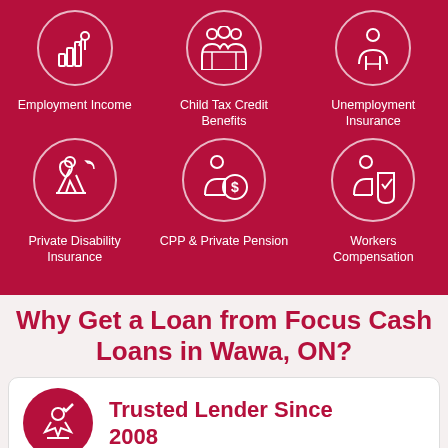[Figure (infographic): Six white icons on dark red background showing income types: Employment Income (bar chart person), Child Tax Credit Benefits (family group), Unemployment Insurance (person), Private Disability Insurance (person under umbrella), CPP & Private Pension (person with coin), Workers Compensation (person with shield)]
Employment Income
Child Tax Credit Benefits
Unemployment Insurance
Private Disability Insurance
CPP & Private Pension
Workers Compensation
Why Get a Loan from Focus Cash Loans in Wawa, ON?
[Figure (logo): Dark red circle icon with handshake and checkmark]
Trusted Lender Since 2008